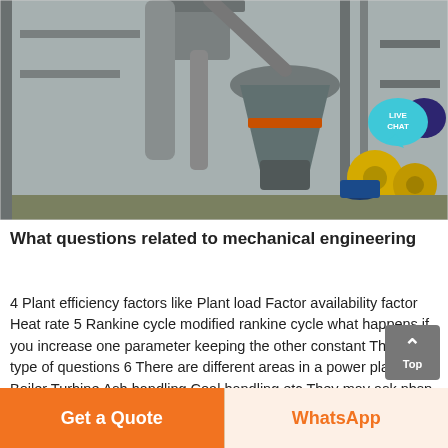[Figure (photo): Industrial machinery in a plant facility showing large cylindrical equipment, pipes, metal framework, and yellow/grey mechanical components in a warehouse-like setting.]
What questions related to mechanical engineering
4 Plant efficiency factors like Plant load Factor availability factor Heat rate 5 Rankine cycle modified rankine cycle what happens if you increase one parameter keeping the other constant These type of questions 6 There are different areas in a power plant like Boiler Turbine Ash handling Coal handling etc They may ask nbsp
[Figure (other): Live Chat speech bubble badge icon in teal/blue color with white text 'LIVE CHAT' and dark blue speech bubble behind it]
[Figure (other): Top/back-to-top button with upward caret arrow and 'Top' label in grey square]
Get a Quote
WhatsApp